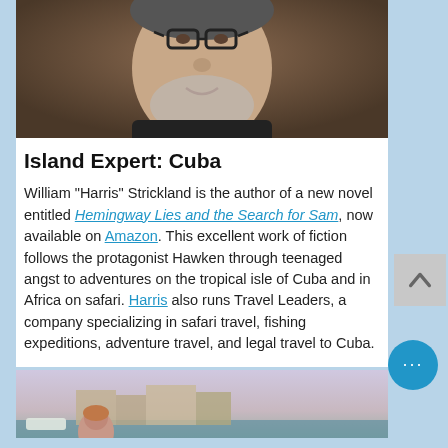[Figure (photo): Close-up portrait photo of a middle-aged man with glasses and grey beard, smiling slightly, wearing a dark shirt, against a brown background.]
Island Expert: Cuba
William "Harris" Strickland is the author of a new novel entitled Hemingway Lies and the Search for Sam, now available on Amazon. This excellent work of fiction follows the protagonist Hawken through teenaged angst to adventures on the tropical isle of Cuba and in Africa on safari. Harris also runs Travel Leaders, a company specializing in safari travel, fishing expeditions, adventure travel, and legal travel to Cuba.
[Figure (photo): Partial photo of a coastal or harbor scene with a woman visible, buildings and water in background, partially cut off at bottom of page.]